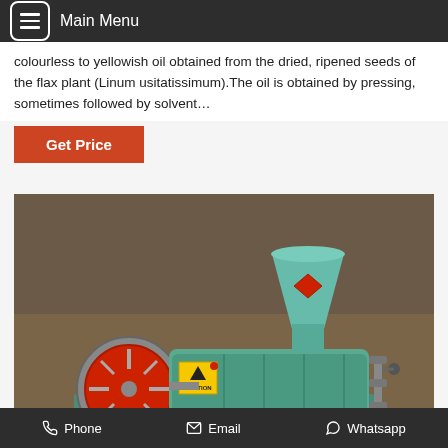Main Menu
colourless to yellowish oil obtained from the dried, ripened seeds of the flax plant (Linum usitatissimum).The oil is obtained by pressing, sometimes followed by solvent…
Get Price
[Figure (photo): Green oil press machine with red flywheel, hopper funnel on top, and mechanical pressing components, mounted on a green metal frame]
Phone   Email   Whatsapp